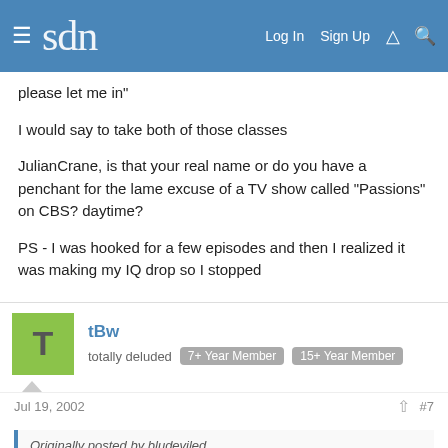sdn — Log In  Sign Up
please let me in"
I would say to take both of those classes
JulianCrane, is that your real name or do you have a penchant for the lame excuse of a TV show called "Passions" on CBS? daytime?
PS - I was hooked for a few episodes and then I realized it was making my IQ drop so I stopped
tBw
totally deluded   7+ Year Member   15+ Year Member
Jul 19, 2002  #7
Originally posted by bludeviled
the lame excuse of a TV show called "Passions" on CBS? daytime?